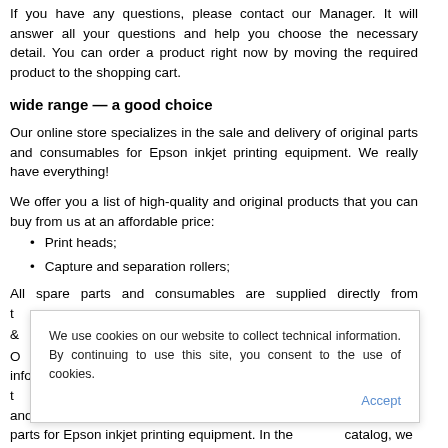If you have any questions, please contact our Manager. It will answer all your questions and help you choose the necessary detail. You can order a product right now by moving the required product to the shopping cart.
wide range — a good choice
Our online store specializes in the sale and delivery of original parts and consumables for Epson inkjet printing equipment. We really have everything!
We offer you a list of high-quality and original products that you can buy from us at an affordable price:
Print heads;
Capture and separation rollers;
All spare parts and consumables are supplied directly from t... l.
& ...
O... inform you t... s and spare parts for Epson inkjet printing equipment. In the catalog, we have collected an extensive range that will allow you to
We use cookies on our website to collect technical information. By continuing to use this site, you consent to the use of cookies.